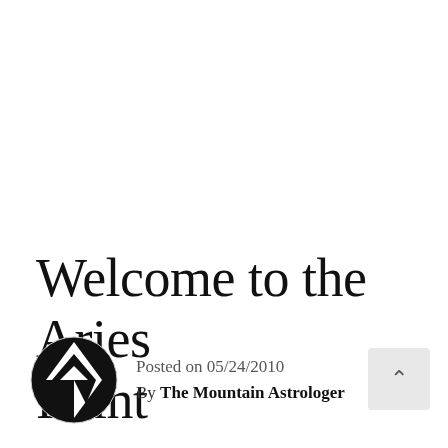Welcome to the Aries Point
Posted on 05/24/2010
By The Mountain Astrologer
[Figure (logo): Circular black and white logo with geometric diamond/arrow shapes forming a stylized design, belonging to The Mountain Astrologer]